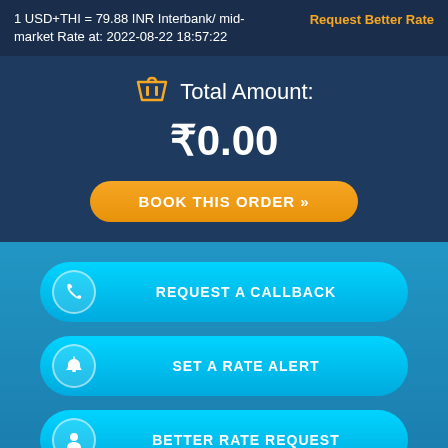1 USD+THI = 79.88 INR Interbank/ mid-market Rate at: 2022-08-22 18:57:22
Request Better Rate
Total Amount:
₹0.00
BOOK THIS ORDER »
REQUEST A CALLBACK
SET A RATE ALERT
BETTER RATE REQUEST